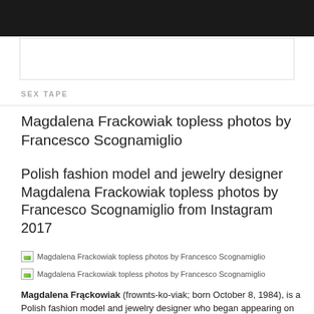[Figure (other): White search/ad box on dark header background]
SEX TAPE
Magdalena Frackowiak topless photos by Francesco Scognamiglio
Polish fashion model and jewelry designer Magdalena Frackowiak topless photos by Francesco Scognamiglio from Instagram 2017
[Figure (photo): Magdalena Frackowiak topless photos by Francesco Scognamiglio]
[Figure (photo): Magdalena Frackowiak topless photos by Francesco Scognamiglio]
Magdalena Frąckowiak (frownts-ko-viak; born October 8, 1984), is a Polish fashion model and jewelry designer who began appearing on